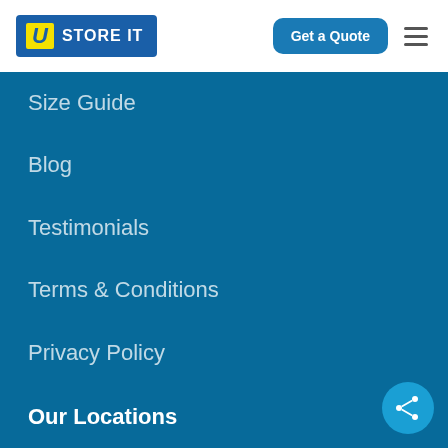U STORE IT | Get a Quote
Size Guide
Blog
Testimonials
Terms & Conditions
Privacy Policy
Our Locations
Dublin Ballymount
Dublin Northpark
Dublin South Side